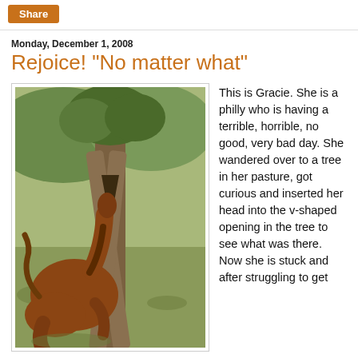Share
Monday, December 1, 2008
Rejoice! "No matter what"
[Figure (photo): A brown filly (horse) named Gracie sitting on the ground with her head stuck in the v-shaped opening of a large tree trunk, in a green pasture with trees and hills in the background.]
This is Gracie. She is a philly who is having a terrible, horrible, no good, very bad day. She wandered over to a tree in her pasture, got curious and inserted her head into the v-shaped opening in the tree to see what was there. Now she is stuck and after struggling to get